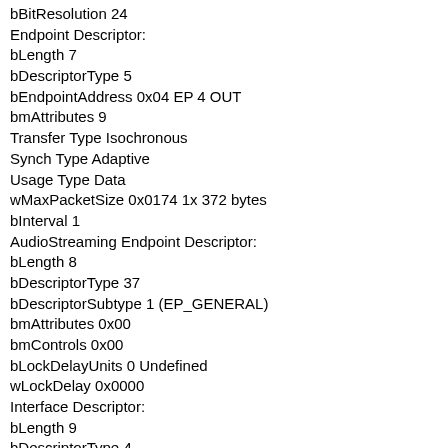bBitResolution 24
Endpoint Descriptor:
bLength 7
bDescriptorType 5
bEndpointAddress 0x04 EP 4 OUT
bmAttributes 9
Transfer Type Isochronous
Synch Type Adaptive
Usage Type Data
wMaxPacketSize 0x0174 1x 372 bytes
bInterval 1
AudioStreaming Endpoint Descriptor:
bLength 8
bDescriptorType 37
bDescriptorSubtype 1 (EP_GENERAL)
bmAttributes 0x00
bmControls 0x00
bLockDelayUnits 0 Undefined
wLockDelay 0x0000
Interface Descriptor:
bLength 9
bDescriptorType 4
bInterfaceNumber 1
bAlternateSetting 3
bNumEndpoints 1
bInterfaceClass 1 Audio